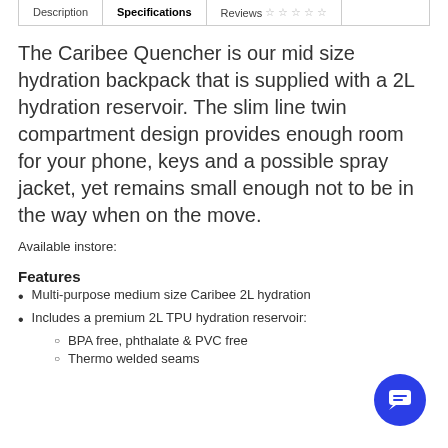Description | Specifications | Reviews ☆☆☆☆☆
The Caribee Quencher is our mid size hydration backpack that is supplied with a 2L hydration reservoir. The slim line twin compartment design provides enough room for your phone, keys and a possible spray jacket, yet remains small enough not to be in the way when on the move.
Available instore:
Features
Multi-purpose medium size Caribee 2L hydration
Includes a premium 2L TPU hydration reservoir:
BPA free, phthalate & PVC free
Thermo welded seams